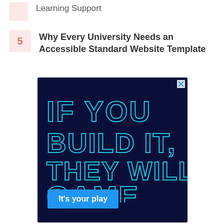Learning Support
Why Every University Needs an Accessible Standard Website Template
[Figure (infographic): Advertisement with dark navy background. Large outlined text reads 'IF YOU BUILD IT, THEY WILL GAME' in cyan/teal outline font. A blue button reads 'It's your play'. A close (X) button in the top right corner.]